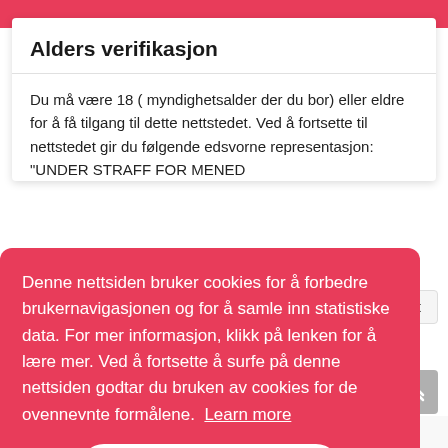Alders verifikasjon
Du må være 18 ( myndighetsalder der du bor) eller eldre for å få tilgang til dette nettstedet. Ved å fortsette til nettstedet gir du følgende edsvorne representasjon: "UNDER STRAFF FOR MENED
Denne nettsiden bruker cookies for å forbedre brukernavigasjonen og for å samle inn statistiske data. For mer informasjon, klikk på lenken for å lære mer. Ved å fortsette å surfe på denne nettsiden godtar du bruken av cookies for de ovennevnte formålene.  Learn more
Jeg forstår
improve our marketing messages and campaigns